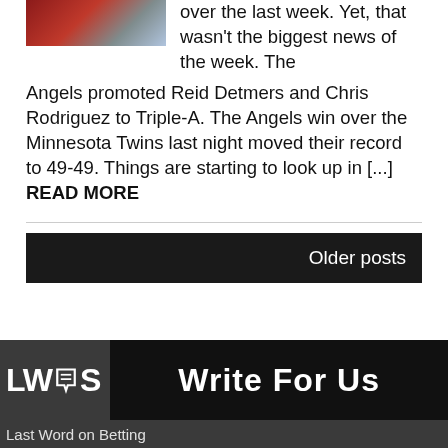[Figure (photo): Baseball action photo showing a player running on a dirt field]
over the last week. Yet, that wasn't the biggest news of the week. The Angels promoted Reid Detmers and Chris Rodriguez to Triple-A. The Angels win over the Minnesota Twins last night moved their record to 49-49. Things are starting to look up in [...] READ MORE
Older posts
[Figure (logo): LWS logo with megaphone icon and Write For Us banner]
Last Word on Betting